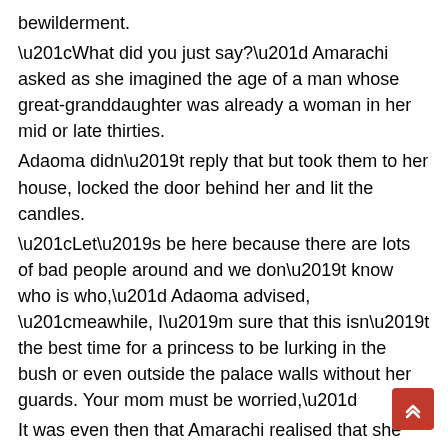bewilderment.
“What did you just say?” Amarachi asked as she imagined the age of a man whose great-granddaughter was already a woman in her mid or late thirties.
Adaoma didn’t reply that but took them to her house, locked the door behind her and lit the candles.
“Let’s be here because there are lots of bad people around and we don’t know who is who,” Adaoma advised, “meanuwhile, I’m sure that this isn’t the best time for a princess to be lurking in the bush or even outside the palace walls without her guards. Your mom must be worried,”
It was even then that Amarachi realised that she didn’t come out with her phone, and there was no way she could be reached by her mom or twin sister. She knew her mom would be so worried but her quest for finding her dad outweighed her fear about her mom’s worry.
“I know, but an elderly man who seems to be one of the cabinet members of King Omekannaya said that I should meet you” Amarachi said so that she would hasten the discussion and know if there is any clue to finding her dad.